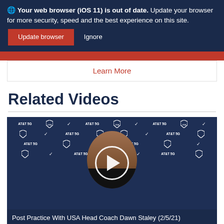🌐 Your web browser (iOS 11) is out of date. Update your browser for more security, speed and the best experience on this site. [Update browser] [Ignore]
Learn More
Related Videos
[Figure (screenshot): Video thumbnail showing USA Basketball press conference with Head Coach Dawn Staley at a backdrop with AT&T 5G, USA Basketball, and Nike logos. A circular play button is overlaid in the center.]
Post Practice With USA Head Coach Dawn Staley (2/5/21)